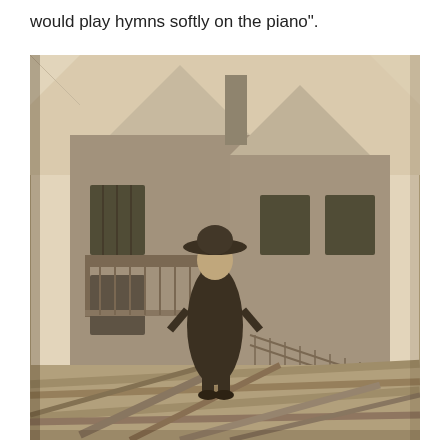would play hymns softly on the piano".
[Figure (photo): Sepia-toned vintage photograph of a man wearing a wide-brimmed hat, standing on lumber/scaffolding in front of a stone building under construction or renovation, with a balcony and staircases visible behind him.]